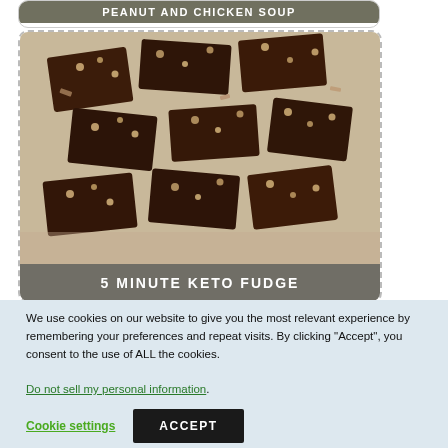PEANUT AND CHICKEN SOUP
[Figure (photo): Pieces of chocolate fudge topped with chopped nuts, scattered on a surface]
5 MINUTE KETO FUDGE
We use cookies on our website to give you the most relevant experience by remembering your preferences and repeat visits. By clicking “Accept”, you consent to the use of ALL the cookies.
Do not sell my personal information.
Cookie settings   ACCEPT